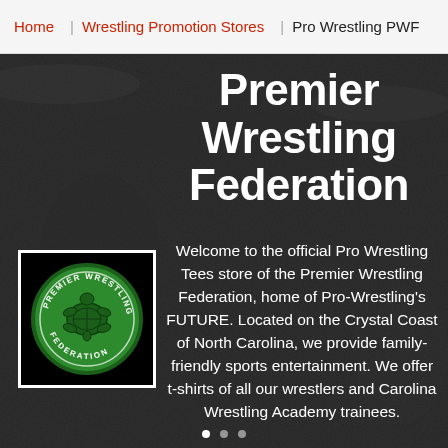Home | Wrestling Promotion Stores | Pro Wrestling PWF
Premier Wrestling Federation
[Figure (logo): Premier Wrestling Federation circular logo with green turtle design on black background, white border box]
Welcome to the official Pro Wrestling Tees store of the Premier Wrestling Federation, home of Pro-Wrestling's FUTURE. Located on the Crystal Coast of North Carolina, we provide family-friendly sports entertainment. We offer t-shirts of all our wrestlers and Carolina Wrestling Academy trainees.